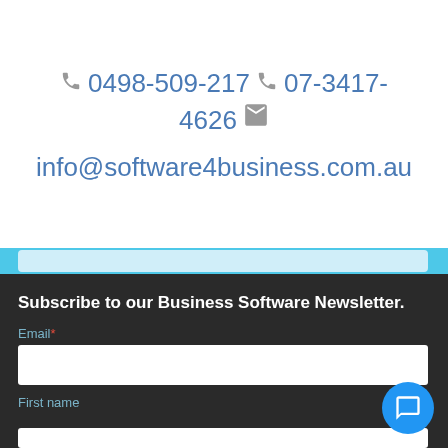0498-509-217   07-3417-4626
info@software4business.com.au
Subscribe to our Business Software Newsletter.
Email*
First name